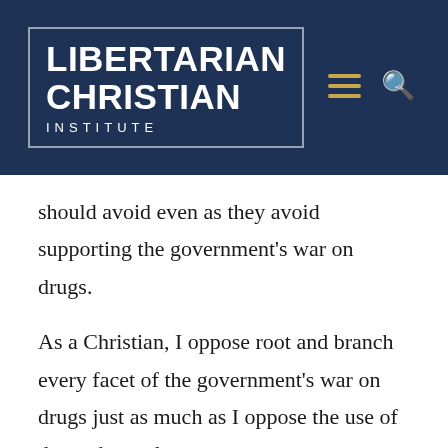[Figure (logo): Libertarian Christian Institute logo with white text on dark navy blue background inside a bordered box, with hamburger menu and search icons to the right]
should avoid even as they avoid supporting the government’s war on drugs.
As a Christian, I oppose root and branch every facet of the government’s war on drugs just as much as I oppose the use of drugs themselves.
Yes, I know I am being redundant. But that’s